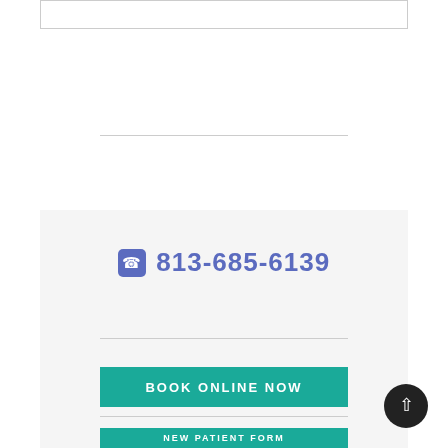[Figure (other): White box with border at top of page]
813-685-6139
BOOK ONLINE NOW
NEW PATIENT FORM